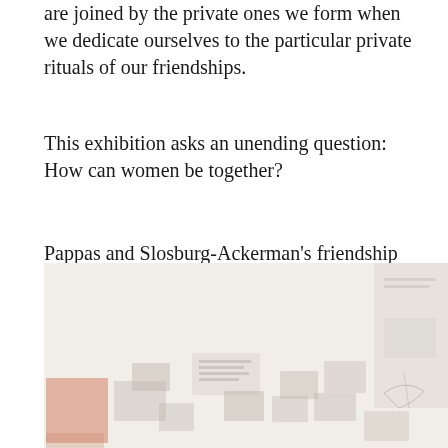are joined by the private ones we form when we dedicate ourselves to the particular private rituals of our friendships.
This exhibition asks an unending question: How can women be together?
Pappas and Slosburg-Ackerman's friendship tell us: We live it.
[Figure (photo): A faded/light photograph of an exhibition wall showing multiple artworks, photographs, and documents arranged in a gallery installation. The image is very light/washed out showing a spread of small images, texts, and artwork pieces across a wall.]